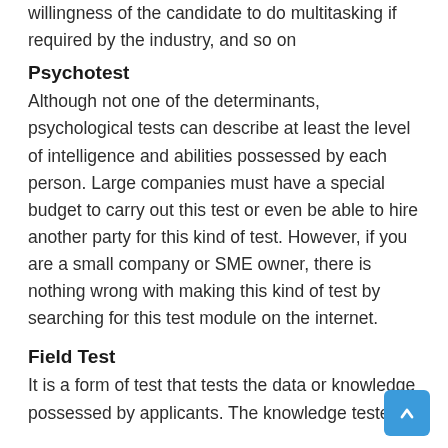willingness of the candidate to do multitasking if required by the industry, and so on
Psychotest
Although not one of the determinants, psychological tests can describe at least the level of intelligence and abilities possessed by each person. Large companies must have a special budget to carry out this test or even be able to hire another party for this kind of test. However, if you are a small company or SME owner, there is nothing wrong with making this kind of test by searching for this test module on the internet.
Field Test
It is a form of test that tests the data or knowledge possessed by applicants. The knowledge tested must match the work to be done later. For example,